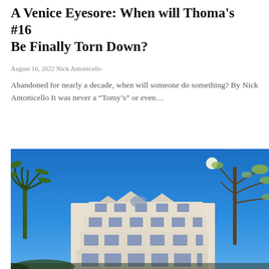A Venice Eyesore: When will Thoma's #16 Be Finally Torn Down?
August 16, 2022 Nick Antonicello
Abandoned for nearly a decade, when will someone do something? By Nick Antonicello It was never a “Tomy’s” or even…
[Figure (photo): Low-angle photograph of a large white multi-story building (abandoned structure) against a bright blue sky, with a palm tree on the left and leafy trees on the right with sun flare visible.]